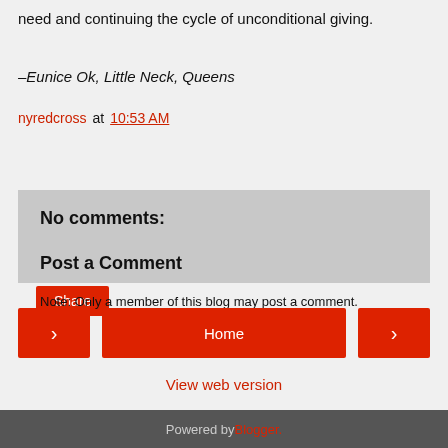need and continuing the cycle of unconditional giving.
–Eunice Ok, Little Neck, Queens
nyredcross at 10:53 AM
Share
No comments:
Post a Comment
Note: Only a member of this blog may post a comment.
< Home >
View web version
Powered by Blogger.